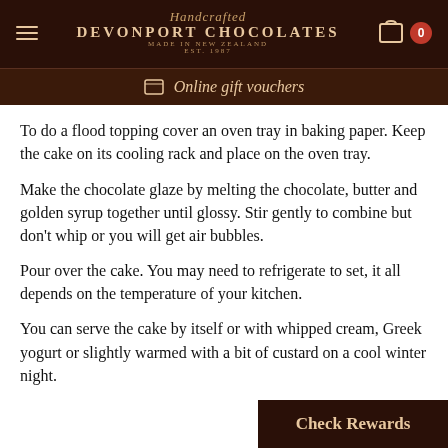Handcrafted DEVONPORT CHOCOLATES MADE IN NEW ZEALAND EST. 1987
Online gift vouchers
To do a flood topping cover an oven tray in baking paper. Keep the cake on its cooling rack and place on the oven tray.
Make the chocolate glaze by melting the chocolate, butter and golden syrup together until glossy. Stir gently to combine but don't whip or you will get air bubbles.
Pour over the cake. You may need to refrigerate to set, it all depends on the temperature of your kitchen.
You can serve the cake by itself or with whipped cream, Greek yogurt or slightly warmed with a bit of custard on a cool winter night.
Check Rewards